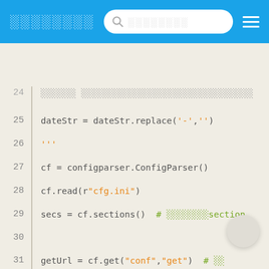Navigation bar with title, search, and menu
[Figure (screenshot): Code editor screenshot showing Python code lines 24-42 with syntax highlighting on a beige background. Line numbers on the left, code on the right. Keywords in blue, strings in orange, comments in green.]